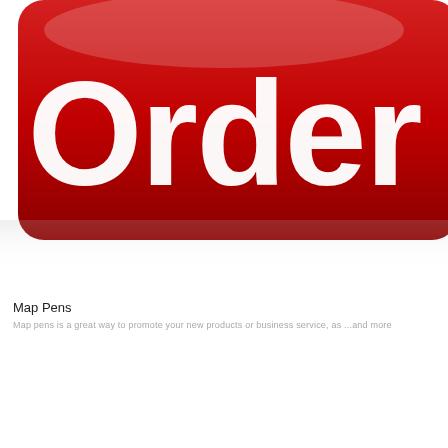[Figure (illustration): A red rounded rectangle button with white bold text reading 'Order', partially cropped at the top and right edges. The button casts a soft shadow below it on a white background.]
Map Pens
Map pens is a great way to promote your new products or business service, as ...and more